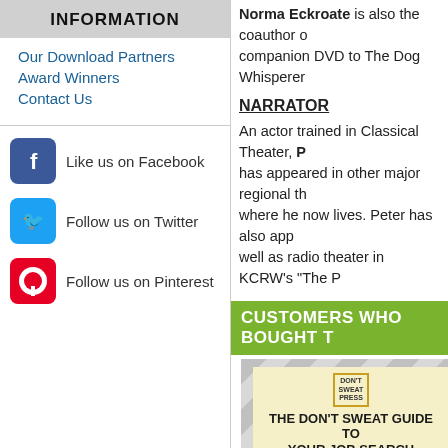INFORMATION
Our Download Partners
Award Winners
Contact Us
Like us on Facebook
Follow us on Twitter
Follow us on Pinterest
Norma Eckroate is also the coauthor of a companion DVD to The Dog Whisperer
NARRATOR
An actor trained in Classical Theater, P... has appeared in other major regional th... where he now lives. Peter has also app... well as radio theater in KCRW's "The P...
CUSTOMERS WHO BOUGHT T...
[Figure (illustration): Book cover: The Don't Sweat Guide To Your Job Search by Richard Carlson Ph.D., published by Don't Sweat Press]
The Don't Sweat Guide To Your Job Search [3CD]